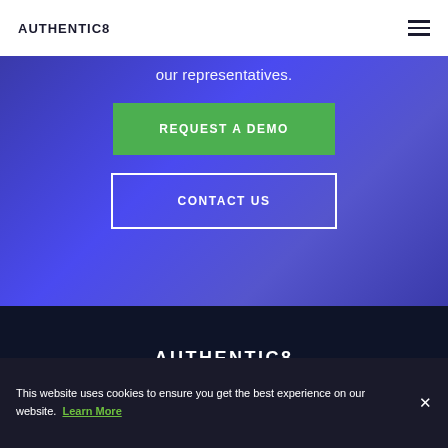AUTHENTIC8
our representatives.
REQUEST A DEMO
CONTACT US
[Figure (logo): AUTHENTIC8 logo in white text on dark navy background]
333 Twin Dolphin Drive
Suite 112
This website uses cookies to ensure you get the best experience on our website. Learn More